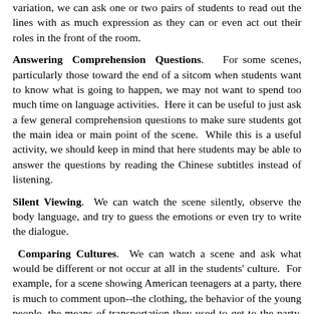variation, we can ask one or two pairs of students to read out the lines with as much expression as they can or even act out their roles in the front of the room.
Answering Comprehension Questions. For some scenes, particularly those toward the end of a sitcom when students want to know what is going to happen, we may not want to spend too much time on language activities. Here it can be useful to just ask a few general comprehension questions to make sure students got the main idea or main point of the scene. While this is a useful activity, we should keep in mind that here students may be able to answer the questions by reading the Chinese subtitles instead of listening.
Silent Viewing. We can watch the scene silently, observe the body language, and try to guess the emotions or even try to write the dialogue.
Comparing Cultures. We can watch a scene and ask what would be different or not occur at all in the students' culture. For example, for a scene showing American teenagers at a party, there is much to comment upon--the clothing, the behavior of the young people, the means of transportation they used to get to the party, what activities they are engaged in at the party, what they are eating and drinking. Since research has shown that nonnative speakers see fewer cultural cues in target language videos than native speakers do (Tufts & Tudor, 1990), it is important that the teacher draw students' attention